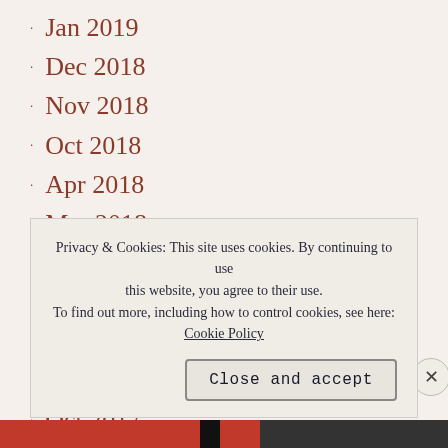Jan 2019
Dec 2018
Nov 2018
Oct 2018
Apr 2018
Mar 2018
Feb 2018
Jan 2018
Dec 2017
Nov 2017
Oct 2017
Privacy & Cookies: This site uses cookies. By continuing to use this website, you agree to their use. To find out more, including how to control cookies, see here: Cookie Policy
Close and accept